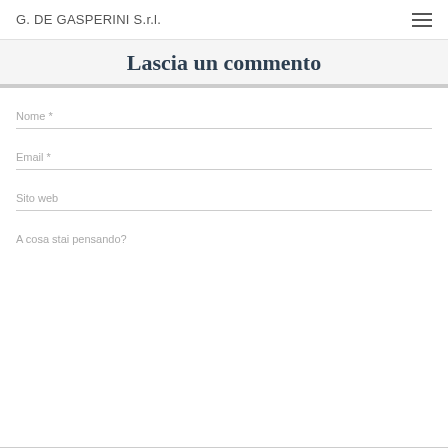G. DE GASPERINI S.r.l.
Lascia un commento
Nome *
Email *
Sito web
A cosa stai pensando?